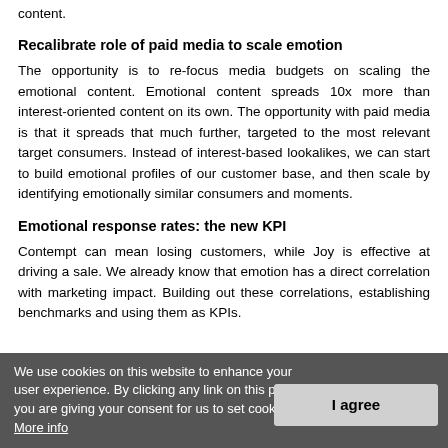content.
Recalibrate role of paid media to scale emotion
The opportunity is to re-focus media budgets on scaling the emotional content. Emotional content spreads 10x more than interest-oriented content on its own. The opportunity with paid media is that it spreads that much further, targeted to the most relevant target consumers. Instead of interest-based lookalikes, we can start to build emotional profiles of our customer base, and then scale by identifying emotionally similar consumers and moments.
Emotional response rates: the new KPI
Contempt can mean losing customers, while Joy is effective at driving a sale. We already know that emotion has a direct correlation with marketing impact. Building out these correlations, establishing benchmarks and using them as KPIs.
We use cookies on this website to enhance your user experience. By clicking any link on this page you are giving your consent for us to set cookies. More info